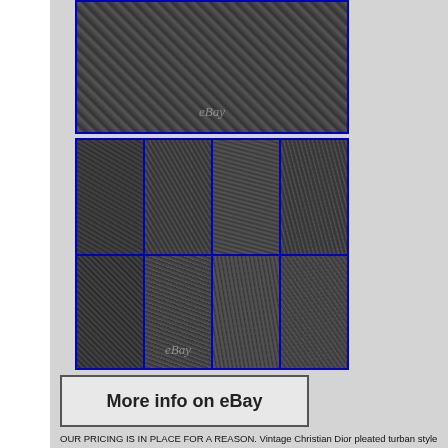[Figure (photo): Close-up photo of a vintage pleated turban hat with horsehair braid and feather detail, black and white image with eBay watermark]
[Figure (photo): 8-panel grid of close-up detail photos of vintage hat showing horsehair braid, netting, trim and feather detail, black and white images with eBay watermark]
[Figure (screenshot): eBay button reading 'More info on eBay']
OUR PRICING IS IN PLACE FOR A REASON. Vintage Christian Dior pleated turban style hat. Pleated horsehair braid with black trim. Poll detail at left. Stripped feather detail at right. Horsehair braid and net creates a knot at right side. Black grosgrain ribbon interior band. Me courtesy. All of our measurements are taken on the outside of the ga